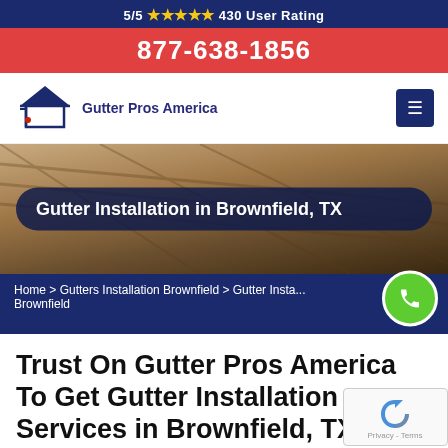5/5 ★★★★★ 430 User Rating
877-638-1856
[Figure (logo): Gutter Pros America logo with house icon]
Gutter Installation in Brownfield, TX
Home > Gutters Installation Brownfield > Gutter Installation Brownfield
Trust On Gutter Pros America To Get Gutter Installation Services in Brownfield, TX We